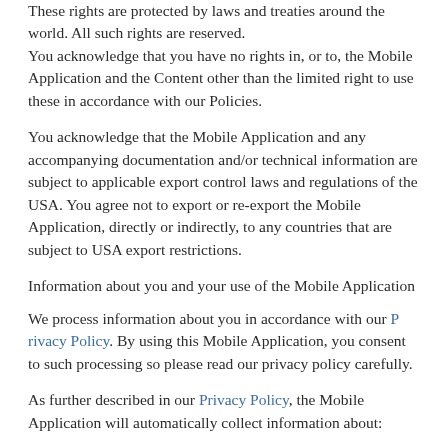These rights are protected by laws and treaties around the world. All such rights are reserved.
You acknowledge that you have no rights in, or to, the Mobile Application and the Content other than the limited right to use these in accordance with our Policies.
You acknowledge that the Mobile Application and any accompanying documentation and/or technical information are subject to applicable export control laws and regulations of the USA. You agree not to export or re-export the Mobile Application, directly or indirectly, to any countries that are subject to USA export restrictions.
Information about you and your use of the Mobile Application
We process information about you in accordance with our Privacy Policy. By using this Mobile Application, you consent to such processing so please read our privacy policy carefully.
As further described in our Privacy Policy, the Mobile Application will automatically collect information about:
1. how you use the Mobile Application;
2. which Content you access;